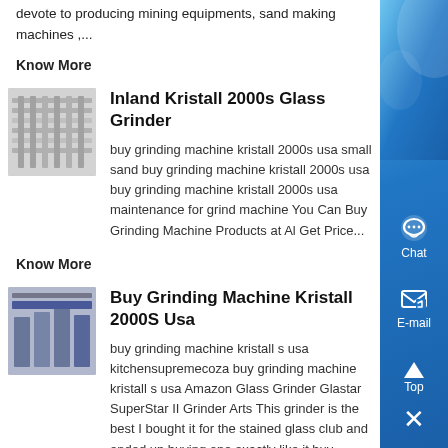devote to producing mining equipments, sand making machines ,...
Know More
[Figure (photo): Thumbnail image of industrial grinding machines in a factory]
Inland Kristall 2000s Glass Grinder
buy grinding machine kristall 2000s usa small sand buy grinding machine kristall 2000s usa buy grinding machine kristall 2000s usa maintenance for grind machine You Can Buy Grinding Machine Products at Al Get Price...
Know More
[Figure (photo): Thumbnail image of industrial grinding machines in a warehouse]
Buy Grinding Machine Kristall 2000S Usa
buy grinding machine kristall s usa kitchensupremecoza buy grinding machine kristall s usa Amazon Glass Grinder Glastar SuperStar II Grinder Arts This grinder is the best I bought it for the stained glass club and ended up buying one exactly like it buy grinding machine kristall 2000s usa smartspector...
Know More